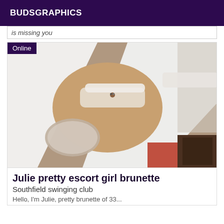BUDSGRAPHICS
is missing you
[Figure (photo): Person wearing white lace lingerie lying on bed with white sheets, belly button piercing visible, lingerie includes bra and underwear with garter-style straps and fishnet stockings]
Julie pretty escort girl brunette
Southfield swinging club
Hello, I'm Julie, pretty brunette of 33...